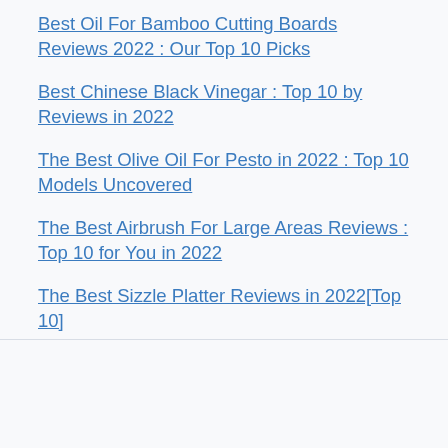Best Oil For Bamboo Cutting Boards Reviews 2022 : Our Top 10 Picks
Best Chinese Black Vinegar : Top 10 by Reviews in 2022
The Best Olive Oil For Pesto in 2022 : Top 10 Models Uncovered
The Best Airbrush For Large Areas Reviews : Top 10 for You in 2022
The Best Sizzle Platter Reviews in 2022[Top 10]
The Best Shake Mixer 2022 : Find Great One Now!